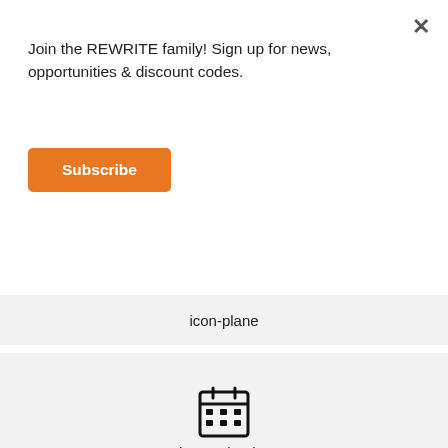Join the REWRITE family! Sign up for news, opportunities & discount codes.
Subscribe
icon-plane
[Figure (illustration): Calendar icon]
icon-calendar
[Figure (illustration): Random/shuffle icon]
icon-random
[Figure (illustration): Comment/speech bubble icon]
icon-comment